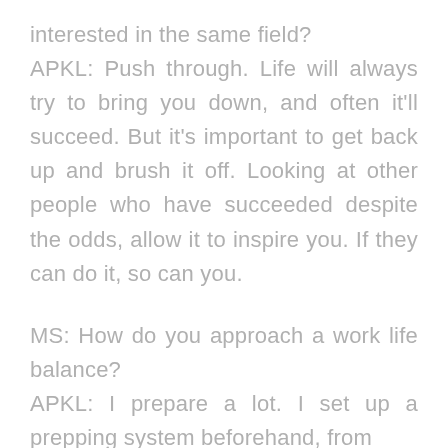interested in the same field?
APKL: Push through. Life will always try to bring you down, and often it'll succeed. But it's important to get back up and brush it off. Looking at other people who have succeeded despite the odds, allow it to inspire you. If they can do it, so can you.
MS: How do you approach a work life balance?
APKL: I prepare a lot. I set up a prepping system beforehand, from